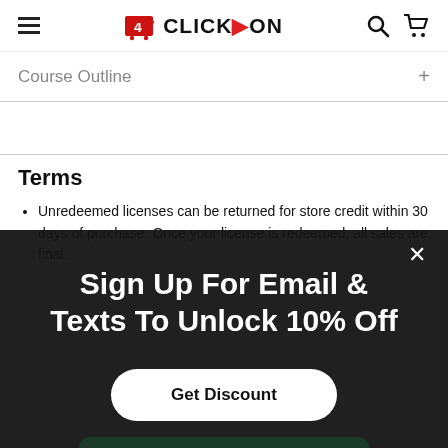4 CLICK ON [navigation header with hamburger menu, logo, search and cart icons]
Course Outline
Terms
Unredeemed licenses can be returned for store credit within 30 days of purchase. Once your license is redeemed, all sales are final.
Sign Up For Email & Texts To Unlock 10% Off
Get Discount
ADD TO CART ($29)